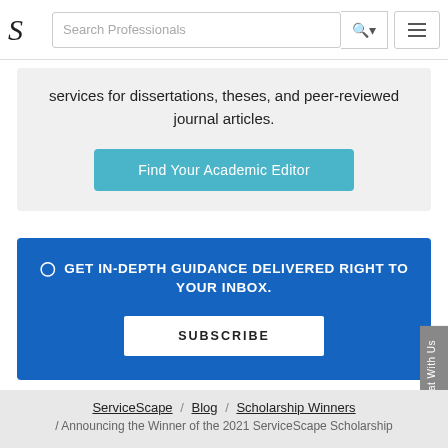[Figure (screenshot): Website navigation bar with ServiceScape logo, search bar for 'Search Professionals', search button, and hamburger menu button]
services for dissertations, theses, and peer-reviewed journal articles.
Find Your Academic Editor
GET IN-DEPTH GUIDANCE DELIVERED RIGHT TO YOUR INBOX.
SUBSCRIBE
Chat With Us
ServiceScape / Blog / Scholarship Winners / Announcing the Winner of the 2021 ServiceScape Scholarship